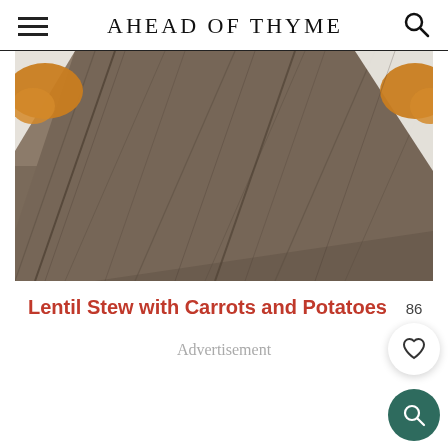AHEAD OF THYME
[Figure (photo): Close-up photo of dark wood-grain surface (dark grey/brown planks) with golden-brown fried food items visible at the corners on a white plate/surface.]
Lentil Stew with Carrots and Potatoes
86
Advertisement